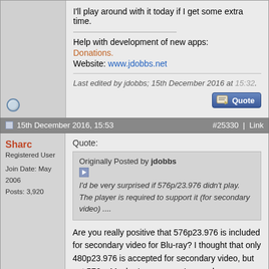I'll play around with it today if I get some extra time.
Help with development of new apps: Donations.
Website: www.jdobbs.net
Last edited by jdobbs; 15th December 2016 at 15:32.
15th December 2016, 15:53
#25330 | Link
Sharc
Registered User
Join Date: May 2006
Posts: 3,920
Quote:
Originally Posted by jdobbs
I'd be very surprised if 576p/23.976 didn't play. The player is required to support it (for secondary video) ....
Are you really positive that 576p23.976 is included for secondary video for Blu-ray? I thought that only 480p23.976 is accepted for secondary video, but not 576p. Maybe I am wrong. I agree however